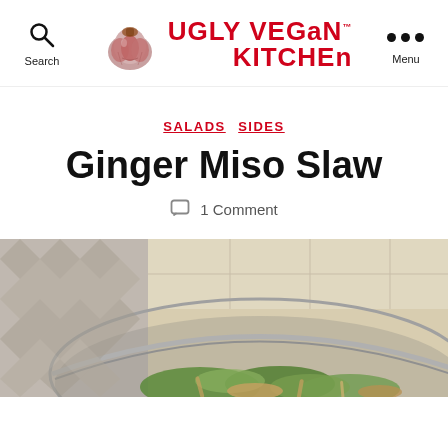Ugly Vegan Kitchen
SALADS  SIDES
Ginger Miso Slaw
1 Comment
[Figure (photo): A metal bowl filled with ginger miso slaw — shredded vegetables including broccoli, cabbage, and other greens with what appears to be a dressing, on a kitchen counter with a patterned cloth in the background.]